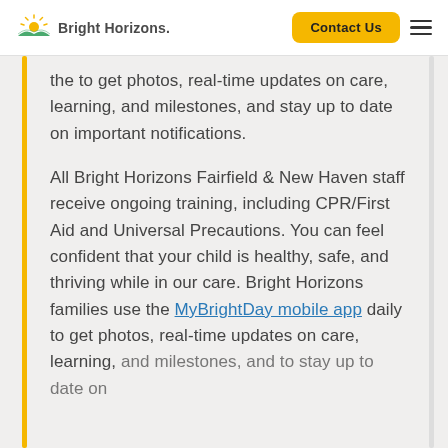Bright Horizons | Contact Us
the to get photos, real-time updates on care, learning, and milestones, and stay up to date on important notifications.
All Bright Horizons Fairfield & New Haven staff receive ongoing training, including CPR/First Aid and Universal Precautions. You can feel confident that your child is healthy, safe, and thriving while in our care. Bright Horizons families use the MyBrightDay mobile app daily to get photos, real-time updates on care, learning, and milestones, and to stay up to date on